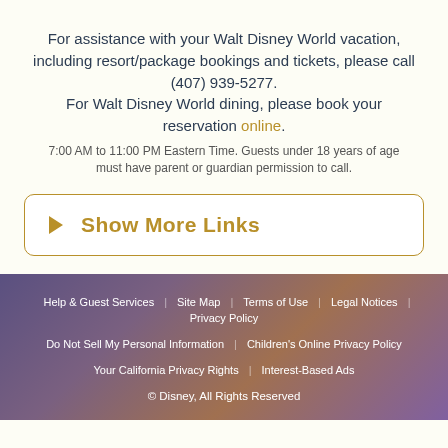For assistance with your Walt Disney World vacation, including resort/package bookings and tickets, please call (407) 939-5277. For Walt Disney World dining, please book your reservation online.
7:00 AM to 11:00 PM Eastern Time. Guests under 18 years of age must have parent or guardian permission to call.
Show More Links
Help & Guest Services | Site Map | Terms of Use | Legal Notices | Privacy Policy | Do Not Sell My Personal Information | Children's Online Privacy Policy | Your California Privacy Rights | Interest-Based Ads | © Disney, All Rights Reserved